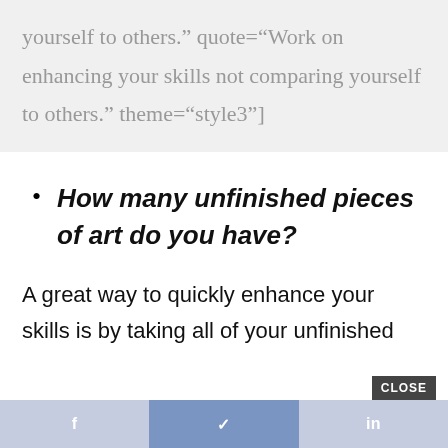yourself to others." quote="Work on enhancing your skills not comparing yourself to others." theme="style3"]
How many unfinished pieces of art do you have?
A great way to quickly enhance your skills is by taking all of your unfinished